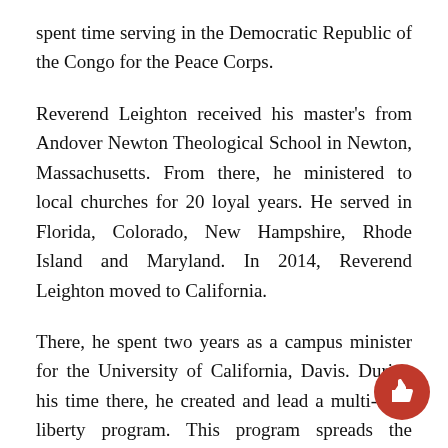spent time serving in the Democratic Republic of the Congo for the Peace Corps.
Reverend Leighton received his master's from Andover Newton Theological School in Newton, Massachusetts. From there, he ministered to local churches for 20 loyal years. He served in Florida, Colorado, New Hampshire, Rhode Island and Maryland. In 2014, Reverend Leighton moved to California.
There, he spent two years as a campus minister for the University of California, Davis. During his time there, he created and lead a multi-faith liberty program. This program spreads the eminent idea that all religions are equal. His other interests are known to be the anti-apartheid movement, affordable housing and healthcare, LGBTQ rights and immigration